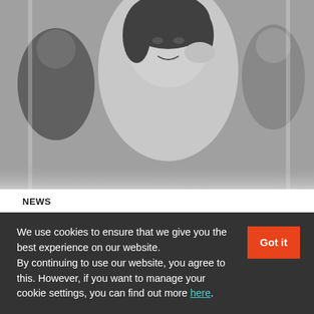[Figure (photo): Black and white photo of a woman posing with her hand near her face, surrounded by a crowd in the background]
NEWS
Elena Argiros joins Academy as Head of Music
London-based production company Academy has announced that Elena Argiros has joined to head its music
We use cookies to ensure that we give you the best experience on our website. By continuing to use our website, you agree to this. However, if you want to manage your cookie settings, you can find out more here.